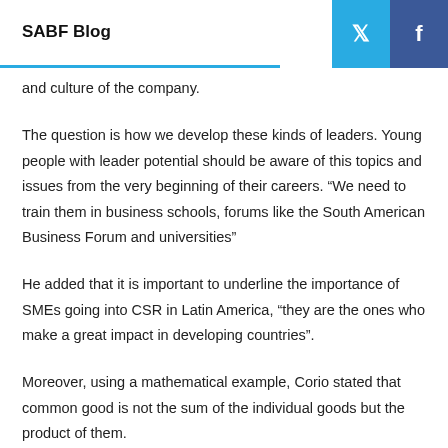SABF Blog
and culture of the company.
The question is how we develop these kinds of leaders. Young people with leader potential should be aware of this topics and issues from the very beginning of their careers. “We need to train them in business schools, forums like the South American Business Forum and universities”
He added that it is important to underline the importance of SMEs going into CSR in Latin America, “they are the ones who make a great impact in developing countries”.
Moreover, using a mathematical example, Corio stated that common good is not the sum of the individual goods but the product of them.